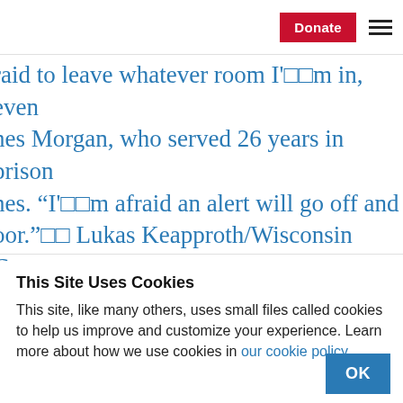Donate [menu]
raid to leave whatever room I’□□m in, even nes Morgan, who served 26 years in prison nes. “I’□□m afraid an alert will go off and oor.”□□ Lukas Keapproth/Wisconsin Center
This Site Uses Cookies
This site, like many others, uses small files called cookies to help us improve and customize your experience. Learn more about how we use cookies in our cookie policy.